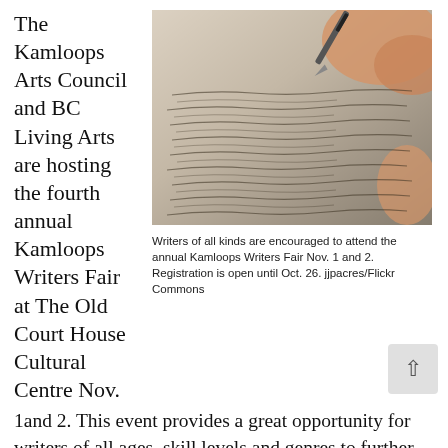The Kamloops Arts Council and BC Living Arts are hosting the fourth annual Kamloops Writers Fair at The Old Court House Cultural Centre Nov. 1and 2. This event provides a great opportunity for writers of all ages, skill levels and genres to further their knowledge about writing and publishing.
[Figure (photo): Close-up photo of hands writing with a pen on paper covered in handwritten text]
Writers of all kinds are encouraged to attend the annual Kamloops Writers Fair Nov. 1 and 2. Registration is open until Oct. 26. jjpacres/Flickr Commons
"We are open to all writers. This includes emerging writers, amateurs and professionals alike," fair co-ordinator Sylvia